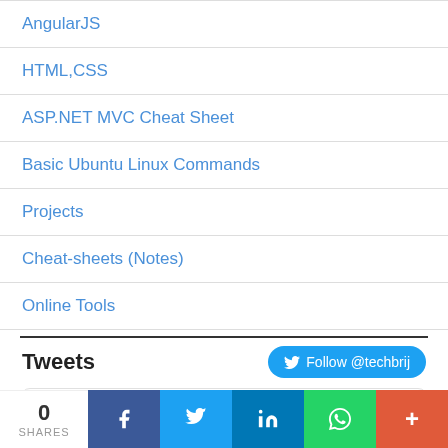AngularJS
HTML,CSS
ASP.NET MVC Cheat Sheet
Basic Ubuntu Linux Commands
Projects
Cheat-sheets (Notes)
Online Tools
Tweets
[Figure (screenshot): Tweet card showing Brij Mohan Retweeted Nick Foscarini - J... @reactgu... · May 24, with Twitter bird icon and Follow @techbrij button]
0 SHARES | Facebook | Twitter | LinkedIn | WhatsApp | More